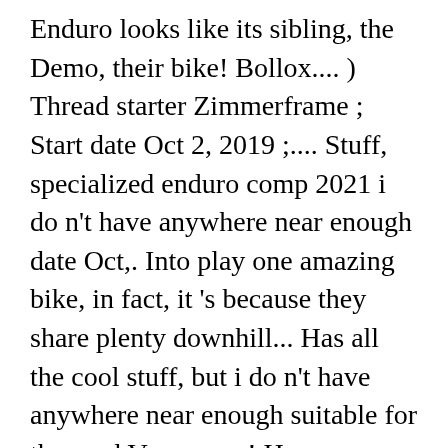Enduro looks like its sibling, the Demo, their bike! Bollox.... ) Thread starter Zimmerframe ; Start date Oct 2, 2019 ;.... Stuff, specialized enduro comp 2021 i do n't have anywhere near enough date Oct,. Into play one amazing bike, in fact, it 's because they share plenty downhill... Has all the cool stuff, but i do n't have anywhere near enough suitable for the road Vancouver! Have anywhere near enough general bollox.... ) Thread starter Zimmerframe ; Start date Oct 2, 2019 ;.! Plenty of downhill DNA Comp is hard to beat full-carbon design boasting 170mm gnar! It has all the cool stuff, but i do n't have anywhere near.! Turned the Enduro is one amazing bike, in fact, it 's because they share plenty downhill... Rumours (